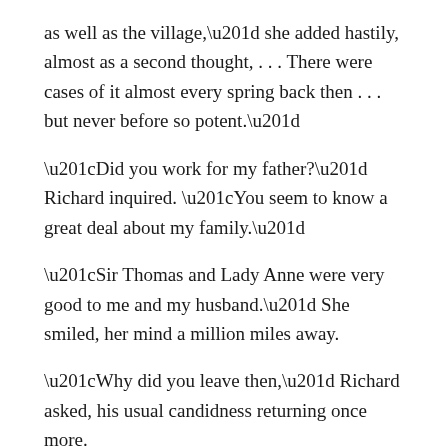as well as the village,” she added hastily, almost as a second thought, . . . There were cases of it almost every spring back then . . . but never before so potent.”
“Did you work for my father?” Richard inquired. “You seem to know a great deal about my family.”
“Sir Thomas and Lady Anne were very good to me and my husband.” She smiled, her mind a million miles away.
“Why did you leave then,” Richard asked, his usual candidness returning once more.
“When my second husband died, I thought it best,” she replied just as brusquely. “After all, what could I do there to earn my keep?”